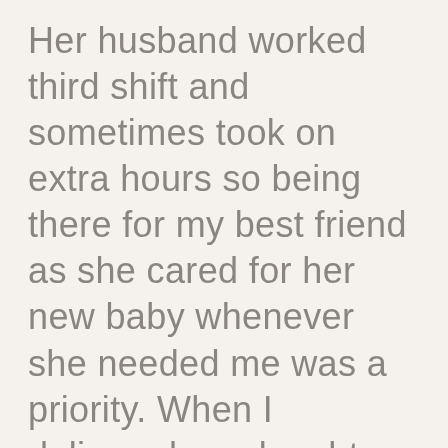Her husband worked third shift and sometimes took on extra hours so being there for my best friend as she cared for her new baby whenever she needed me was a priority. When I delivered my daughter, I remember spending a portion of the summer together – taking them out for walks in the stroller and looking at our recently planted flowers on our front porches. Even our mailman commented once about just how